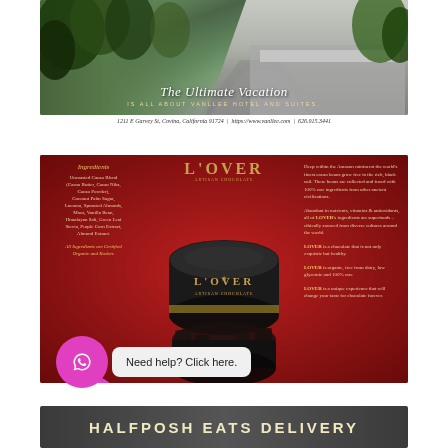[Figure (photo): Vanllee Hotel and Suites advertisement with a photo of the hotel entrance surrounded by tropical foliage. Overlay text reads 'The Ultimate Vacation Is All About Vanllee Hotel and Suites.' Below: '1211 E Garvey St, Covina, California 91724 | https://www.vanllee.com | 626.915.3441']
[Figure (photo): L'Over Artisan Chocolate advertisement on a red background. Left column lists ingredients. Center shows the product tin and logo. Right column has marketing copy about Amazon rainforest cacao beans, superfood ingredients, organic/dairy-free/low-glycemic claims.]
Need help? Click here.
[Figure (photo): Halfposh Eats Delivery advertisement banner with dark background and stylized text.]